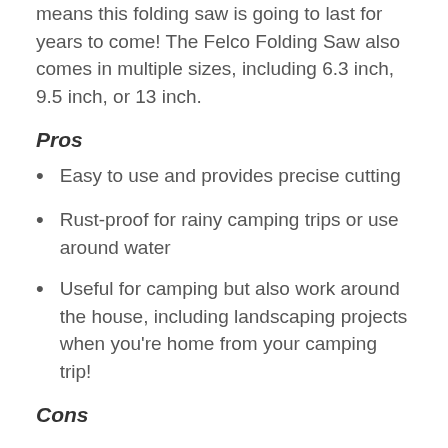means this folding saw is going to last for years to come! The Felco Folding Saw also comes in multiple sizes, including 6.3 inch, 9.5 inch, or 13 inch.
Pros
Easy to use and provides precise cutting
Rust-proof for rainy camping trips or use around water
Useful for camping but also work around the house, including landscaping projects when you're home from your camping trip!
Cons